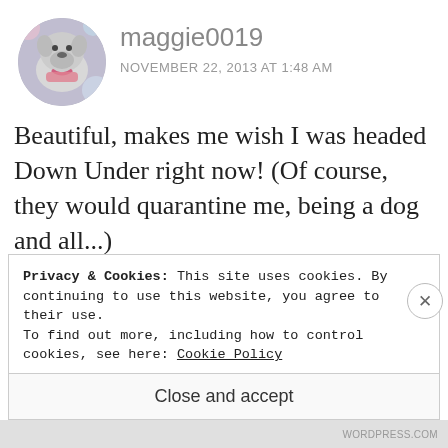[Figure (photo): Circular avatar photo of a white/grey dog (pit bull type) with a pink bandana, against a colorful background]
maggie0019
NOVEMBER 22, 2013 AT 1:48 AM
Beautiful, makes me wish I was headed Down Under right now! (Of course, they would quarantine me, being a dog and all...)
★ Like
REPLY
Privacy & Cookies: This site uses cookies. By continuing to use this website, you agree to their use.
To find out more, including how to control cookies, see here: Cookie Policy
Close and accept